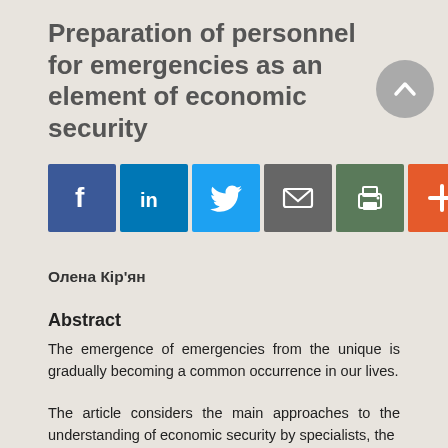Preparation of personnel for emergencies as an element of economic security
[Figure (infographic): Row of social sharing icons: Facebook (blue), LinkedIn (blue), Twitter (light blue), Email (grey), Print (green), Plus/More (orange-red)]
Олена Кір'ян
Abstract
The emergence of emergencies from the unique is gradually becoming a common occurrence in our lives.
The article considers the main approaches to the understanding of economic security by specialists, the